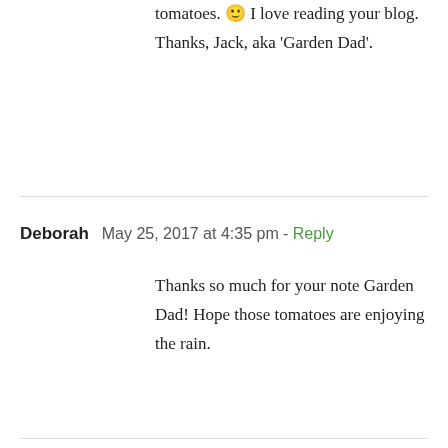tomatoes. 🙂 I love reading your blog. Thanks, Jack, aka 'Garden Dad'.
Deborah  May 25, 2017 at 4:35 pm - Reply
Thanks so much for your note Garden Dad! Hope those tomatoes are enjoying the rain.
Leave A Comment
Comment...